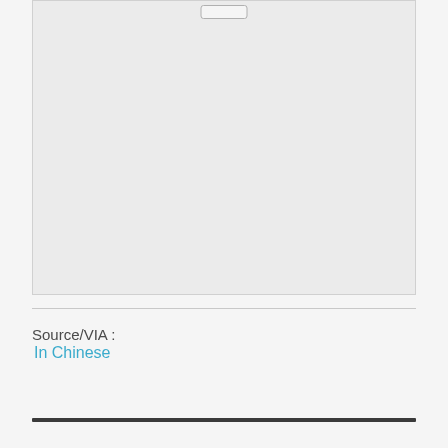[Figure (other): Large light gray rectangular image area with a small rounded rectangle at the top center, content not visible]
Source/VIA :
In Chinese